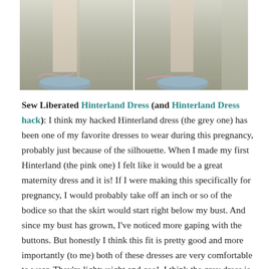[Figure (photo): Two side-by-side photos showing the lower half of a person wearing dresses and grey/blue flats, standing on concrete with chalk marks visible on the ground.]
Sew Liberated Hinterland Dress (and Hinterland Dress hack): I think my hacked Hinterland dress (the grey one) has been one of my favorite dresses to wear during this pregnancy, probably just because of the silhouette. When I made my first Hinterland (the pink one) I felt like it would be a great maternity dress and it is! If I were making this specifically for pregnancy, I would probably take off an inch or so of the bodice so that the skirt would start right below my bust. And since my bust has grown, I've noticed more gaping with the buttons. But honestly I think this fit is pretty good and more importantly (to me) both of these dresses are very comfortable to wear. They're lightweight and cool. I think the grey dress is